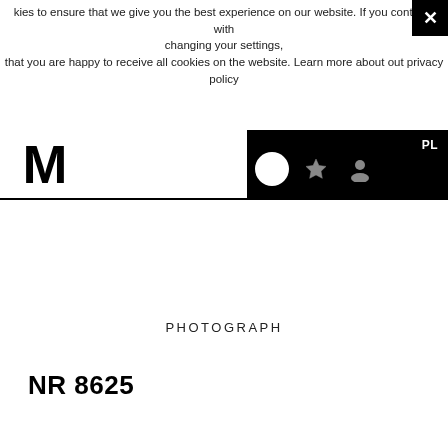kies to ensure that we give you the best experience on our website. If you continue with changing your settings, that you are happy to receive all cookies on the website. Learn more about out privacy policy
[Figure (screenshot): Website navigation bar with black M logo on left, black icon bar on right containing search, star/bookmark, user/profile icons and PL language selector]
PHOTOGRAPH
NR 8625